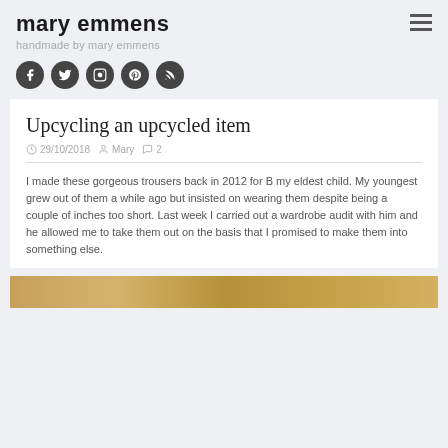mary emmens
handmade by mary emmens
[Figure (infographic): Five circular social media icons: Facebook, Twitter, Instagram, Pinterest, RSS feed]
Upcycling an upcycled item
29/10/2018  Mary  2
I made these gorgeous trousers back in 2012 for B my eldest child.  My youngest grew out of them a while ago but insisted on wearing them despite being a couple of inches too short.  Last week I carried out a wardrobe audit with him and he allowed me to take them out on the basis that I promised to make them into something else.
[Figure (photo): Bottom strip showing what appears to be wooden or fabric texture]